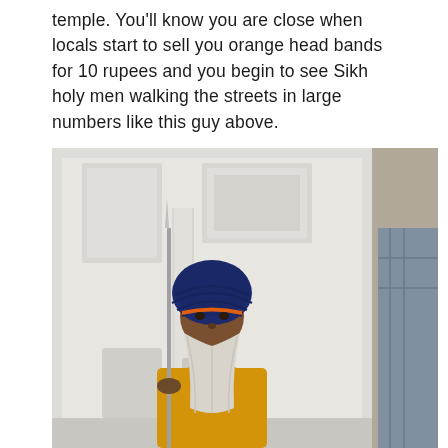temple. You'll know you are close when locals start to sell you orange head bands for 10 rupees and you begin to see Sikh holy men walking the streets in large numbers like this guy above.
[Figure (photo): A Sikh holy man standing in front of a white ornately decorated temple wall. He is wearing a dark blue turban with an orange band, a yellow robe, and holding a spear. He has a long white beard. Another person in a plaid shirt is partially visible on the right edge.]